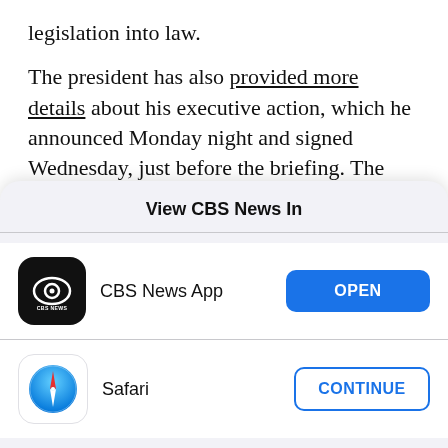legislation into law.

The president has also provided more details about his executive action, which he announced Monday night and signed Wednesday, just before the briefing. The action halts immigration into the U.S. because of the coronavirus crisis. Mr. Trump told reporters Tuesday his directive will suspend the processing of certain visas for 60 days.
View CBS News In
[Figure (screenshot): App chooser modal with CBS News App (OPEN button) and Safari (CONTINUE button)]